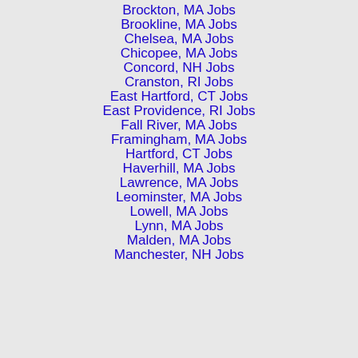Brockton, MA Jobs
Brookline, MA Jobs
Chelsea, MA Jobs
Chicopee, MA Jobs
Concord, NH Jobs
Cranston, RI Jobs
East Hartford, CT Jobs
East Providence, RI Jobs
Fall River, MA Jobs
Framingham, MA Jobs
Hartford, CT Jobs
Haverhill, MA Jobs
Lawrence, MA Jobs
Leominster, MA Jobs
Lowell, MA Jobs
Lynn, MA Jobs
Malden, MA Jobs
Manchester, NH Jobs